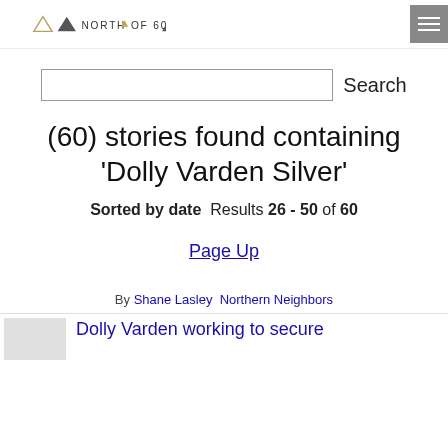NORTH OF 60
(search box and Search button)
(60) stories found containing 'Dolly Varden Silver'
Sorted by date  Results 26 - 50 of 60
Page Up
By Shane Lasley  Northern Neighbors
Dolly Varden working to secure